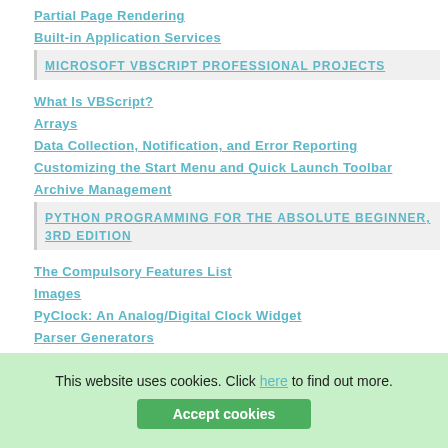Partial Page Rendering
Built-in Application Services
MICROSOFT VBSCRIPT PROFESSIONAL PROJECTS
What Is VBScript?
Arrays
Data Collection, Notification, and Error Reporting
Customizing the Start Menu and Quick Launch Toolbar
Archive Management
PYTHON PROGRAMMING FOR THE ABSOLUTE BEGINNER, 3RD EDITION
The Compulsory Features List
Images
PyClock: An Analog/Digital Clock Widget
Parser Generators
Wrapping C++ Classes with SWIG
flylib.com © 2008-2017.
This website uses cookies. Click here to find out more.
Accept cookies